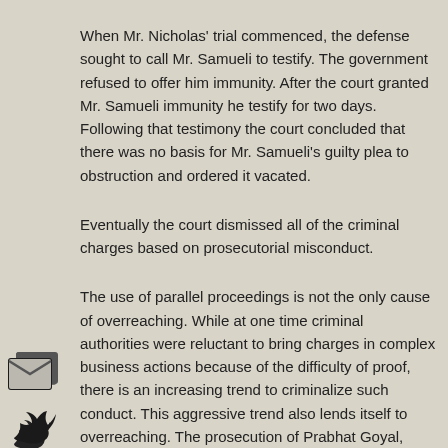When Mr. Nicholas' trial commenced, the defense sought to call Mr. Samueli to testify. The government refused to offer him immunity. After the court granted Mr. Samueli immunity he testify for two days. Following that testimony the court concluded that there was no basis for Mr. Samueli's guilty plea to obstruction and ordered it vacated.
Eventually the court dismissed all of the criminal charges based on prosecutorial misconduct.
The use of parallel proceedings is not the only cause of overreaching. While at one time criminal authorities were reluctant to bring charges in complex business actions because of the difficulty of proof, there is an increasing trend to criminalize such conduct. This aggressive trend also lends itself to overreaching. The prosecution of Prabhat Goyal, CEO of McAfee from 1997 through 2001